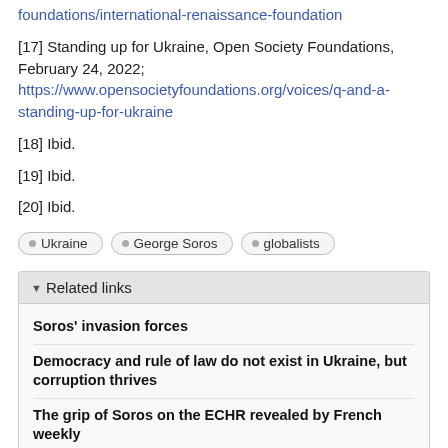foundations/international-renaissance-foundation
[17] Standing up for Ukraine, Open Society Foundations, February 24, 2022; https://www.opensocietyfoundations.org/voices/q-and-a-standing-up-for-ukraine
[18] Ibid.
[19] Ibid.
[20] Ibid.
Ukraine
George Soros
globalists
Related links
Soros' invasion forces
Democracy and rule of law do not exist in Ukraine, but corruption thrives
The grip of Soros on the ECHR revealed by French weekly
The hand of Soros: The youngest European